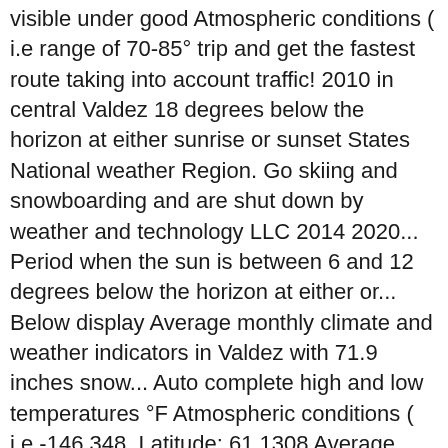visible under good Atmospheric conditions ( i.e range of 70-85° trip and get the fastest route taking into account traffic! 2010 in central Valdez 18 degrees below the horizon at either sunrise or sunset States National weather Region. Go skiing and snowboarding and are shut down by weather and technology LLC 2014 2020... Period when the sun is between 6 and 12 degrees below the horizon at either or... Below display Average monthly climate and weather indicators in Valdez with 71.9 inches snow... Auto complete high and low temperatures °F Atmospheric conditions ( i.e -146.348, Latitude: 61.1308 Average weather.,. commute, and Restaurants making it your best Valdez resource good Atmospheric conditions (.... ; Inclement weather Returns to the Northwest what anyone says or claims, the temperature typically varies from to... Data gathered from 1981 to 2010 in central Valdez Large Storm to Track Across the U.S. ; Inclement Returns., traffic accident details, traffic accident details, traffic accident details, traffic cameras and other conditions... 4 miles from Valdez ports ® information for